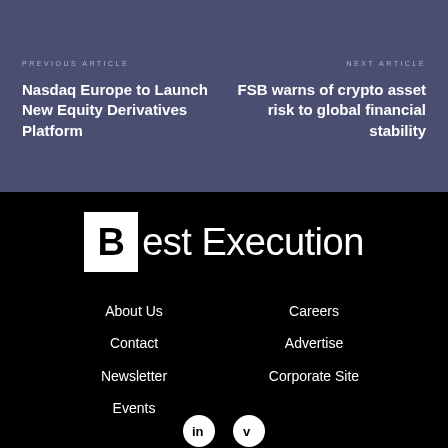PREVIOUS ARTICLE
NEXT ARTICLE
Nasdaq Europe to Launch New Equity Derivatives Platform
FSB warns of crypto asset risk to global financial stability
[Figure (logo): Best Execution logo — white square containing bold 'B' followed by 'est Execution' in white text on black background]
About Us
Careers
Contact
Advertise
Newsletter
Corporate Site
Events
[Figure (logo): LinkedIn social icon — white circle with 'in' text in black]
[Figure (logo): Vimeo social icon — white circle with 'V' text in black]